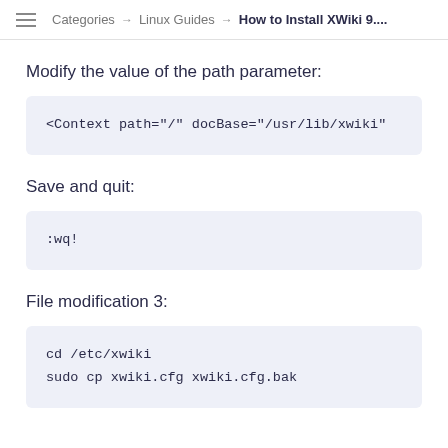Categories → Linux Guides → How to Install XWiki 9....
Modify the value of the path parameter:
<Context path="/" docBase="/usr/lib/xwiki"
Save and quit:
:wq!
File modification 3:
cd /etc/xwiki
sudo cp xwiki.cfg xwiki.cfg.bak